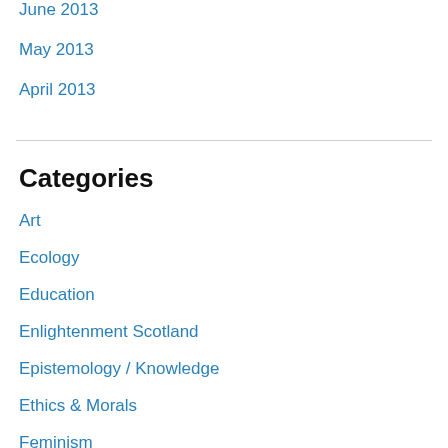June 2013
May 2013
April 2013
Categories
Art
Ecology
Education
Enlightenment Scotland
Epistemology / Knowledge
Ethics & Morals
Feminism
Freethought
Happy Birthday!
History of Ideas
Human Rights
Justice
Language